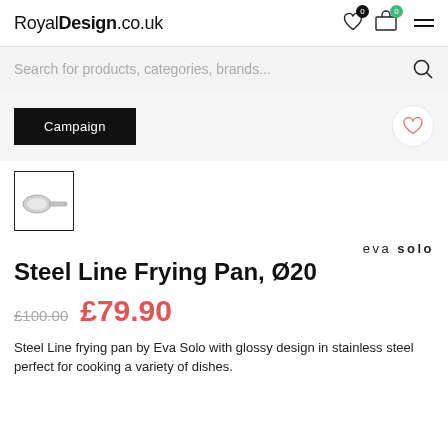RoyalDesign.co.uk
Search for products, categories, brands...
Campaign
[Figure (photo): Small thumbnail image of a steel frying pan (Eva Solo Steel Line Frying Pan Ø20), shown in a bordered square thumbnail.]
eva solo
Steel Line Frying Pan, Ø20
£100.00  £79.90
Steel Line frying pan by Eva Solo with glossy design in stainless steel perfect for cooking a variety of dishes.